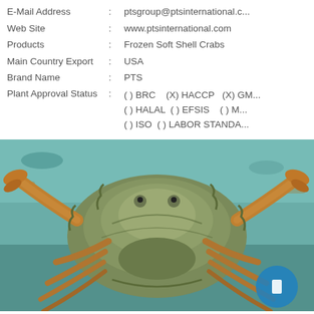E-Mail Address : ptsgroup@ptsinternational.c...
Web Site : www.ptsinternational.com
Products : Frozen Soft Shell Crabs
Main Country Export : USA
Brand Name : PTS
Plant Approval Status : ( ) BRC   (X) HACCP   (X) GM... ( ) HALAL  ( ) EFSIS   ( ) M... ( ) ISO  ( ) LABOR STANDA...
[Figure (photo): Close-up photograph of a soft shell crab viewed from above, showing the full body with claws spread wide. The crab has a greenish-brown carapace, orange-brown legs and claws. Background shows aquatic/water environment with teal/blue tones.]